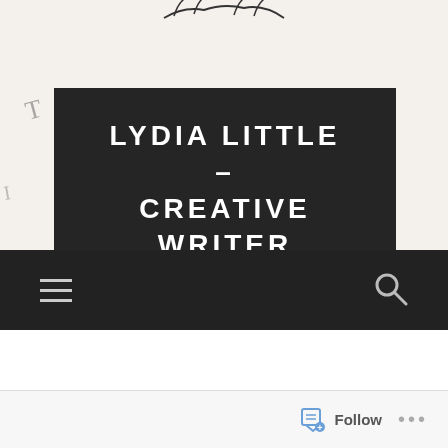[Figure (screenshot): Website header screenshot for 'Lydia Little – Creative Writer and K-Girl' blog, showing a dark overlay box with the site title and tagline 'Memories, Musings & Manifestations' over a handwritten cursive text background, with a dark navigation bar at the bottom containing hamburger menu and search icons, and a follow bar at the very bottom.]
LYDIA LITTLE – CREATIVE WRITER AND K-GIRL
Memories, Musings & Manifestations